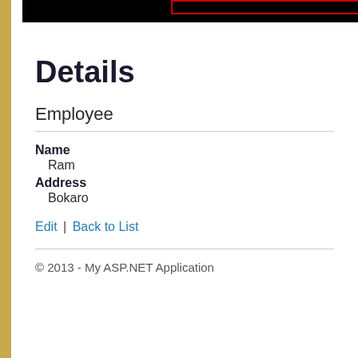[Figure (screenshot): Browser chrome top bar with black navigation bar and red-outlined address bar area]
Details
Employee
Name
Ram
Address
Bokaro
Edit | Back to List
© 2013 - My ASP.NET Application